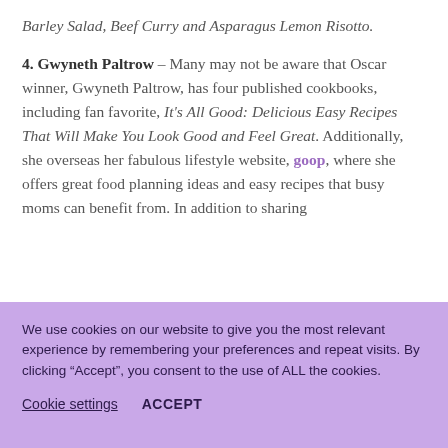Barley Salad, Beef Curry and Asparagus Lemon Risotto. 4. Gwyneth Paltrow – Many may not be aware that Oscar winner, Gwyneth Paltrow, has four published cookbooks, including fan favorite, It's All Good: Delicious Easy Recipes That Will Make You Look Good and Feel Great. Additionally, she overseas her fabulous lifestyle website, goop, where she offers great food planning ideas and easy recipes that busy moms can benefit from. In addition to sharing.
We use cookies on our website to give you the most relevant experience by remembering your preferences and repeat visits. By clicking “Accept”, you consent to the use of ALL the cookies.
Cookie settings
ACCEPT